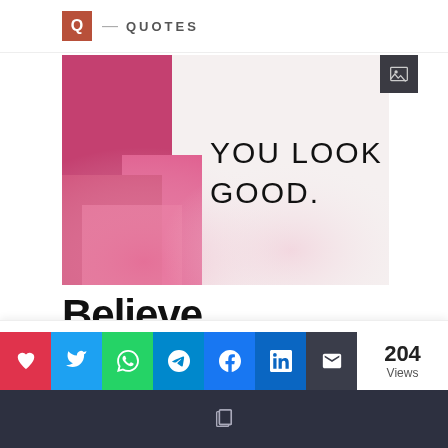Q — QUOTES
[Figure (photo): Photo showing a pink/magenta book or object on the left edge, with text 'YOU LOOK GOOD.' printed on a white background]
Believe
Privacy & Cookies: This site uses cookies. By continuing to use this website, you agree to their use. To find out more, including privacy and
204 Views